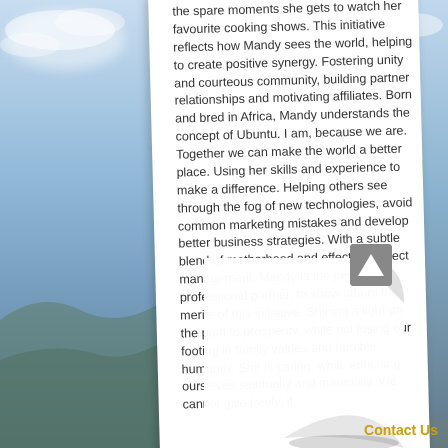the spare moments she gets to watch her favourite cooking shows. This initiative reflects how Mandy sees the world, helping to create positive synergy. Fostering unity and courteous community, building partner relationships and motivating affiliates. Born and bred in Africa, Mandy understands the concept of Ubuntu. I am, because we are. Together we can make the world a better place. Using her skills and experience to make a difference. Helping others see through the fog of new technologies, avoid common marketing mistakes and develop better business strategies. With a subtle blend of motherhood and effective project management, Mandy is the perfect professional partner, to show others the merits of this initiative. Shining a light on the path to prosperity, while not losing our footing in family values and humble humanity. She is caring, while enriching ourselves spiritually and materially. We cannot give freely, if
[Figure (photo): Background photo showing city skyline and sky, visible on left and right sides behind a white document card with a page-curl effect in the bottom-right corner.]